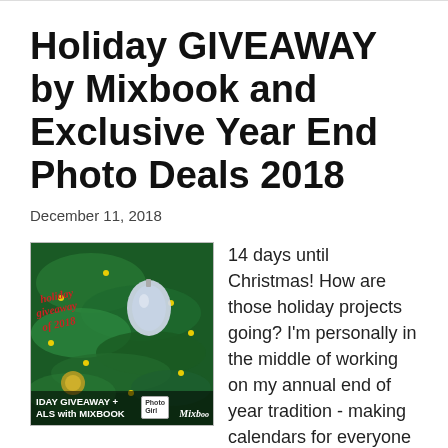Holiday GIVEAWAY by Mixbook and Exclusive Year End Photo Deals 2018
December 11, 2018
[Figure (photo): Holiday ornament on Christmas tree with overlay text reading 'holiday giveaway of 2018' and 'IDAY GIVEAWAY + ALS with MIXBOOK' with Mixbook logo]
14 days until Christmas! How are those holiday projects going?  I'm personally in the middle of working on my annual end of year tradition - making calendars for everyone in my family! If you're a follower of my